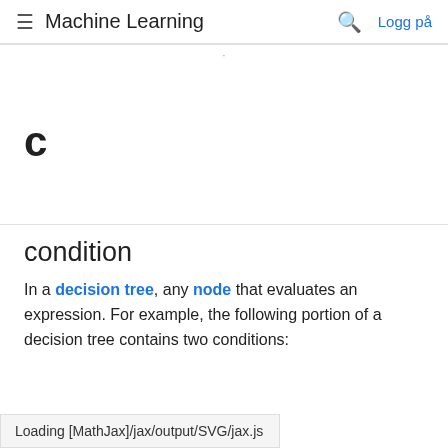≡ Machine Learning  🔍  Logg på
C
condition
In a decision tree, any node that evaluates an expression. For example, the following portion of a decision tree contains two conditions:
Loading [MathJax]/jax/output/SVG/jax.js